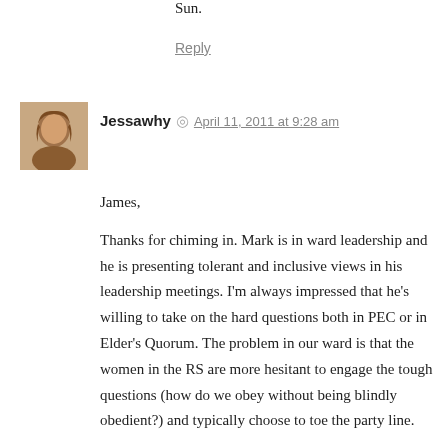Sun.
Reply
Jessawhy  ◎  April 11, 2011 at 9:28 am
James,

Thanks for chiming in. Mark is in ward leadership and he is presenting tolerant and inclusive views in his leadership meetings. I'm always impressed that he's willing to take on the hard questions both in PEC or in Elder's Quorum. The problem in our ward is that the women in the RS are more hesitant to engage the tough questions (how do we obey without being blindly obedient?) and typically choose to toe the party line.

On the other hand, our current RS pres had a meeting where we all talked about our trials very openly and really engaged some of life's hard questions. They weren't about faith in the church, but it's a step in the right direction.

I echo your frustration with church meetings getting in the